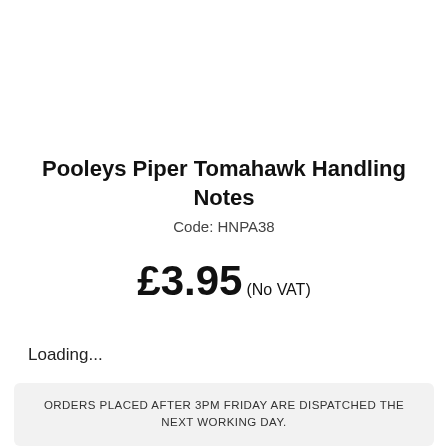Pooleys Piper Tomahawk Handling Notes
Code: HNPA38
£3.95 (No VAT)
Loading...
ORDERS PLACED AFTER 3PM FRIDAY ARE DISPATCHED THE NEXT WORKING DAY.